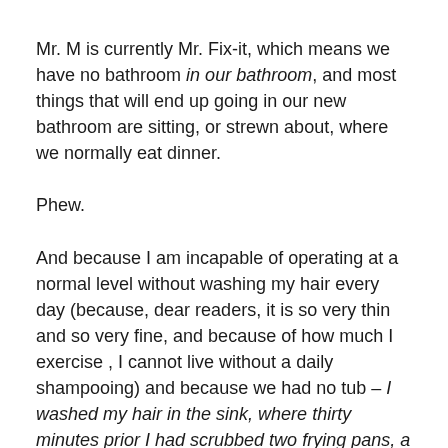Mr. M is currently Mr. Fix-it, which means we have no bathroom in our bathroom, and most things that will end up going in our new bathroom are sitting, or strewn about, where we normally eat dinner.
Phew.
And because I am incapable of operating at a normal level without washing my hair every day (because, dear readers, it is so very thin and so very fine, and because of how much I exercise , I cannot live without a daily shampooing) and because we had no tub – I washed my hair in the sink, where thirty minutes prior I had scrubbed two frying pans, a colander, two soup bowls and a spatula.
PHEW.
Needless to say, before I got down to business, the side